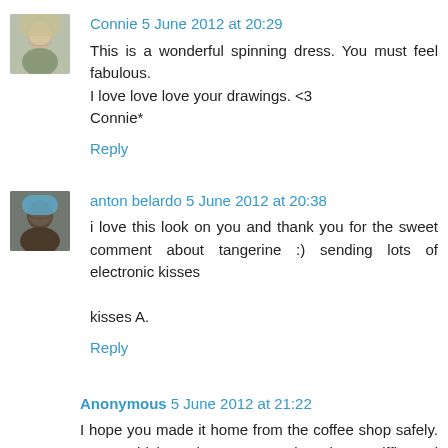Connie 5 June 2012 at 20:29
This is a wonderful spinning dress. You must feel fabulous. I love love love your drawings. <3
Connie*
Reply
anton belardo 5 June 2012 at 20:38
i love this look on you and thank you for the sweet comment about tangerine :) sending lots of electronic kisses

kisses A.
Reply
Anonymous 5 June 2012 at 21:22
I hope you made it home from the coffee shop safely. You could have been swooped up by a griffin and carried to it's